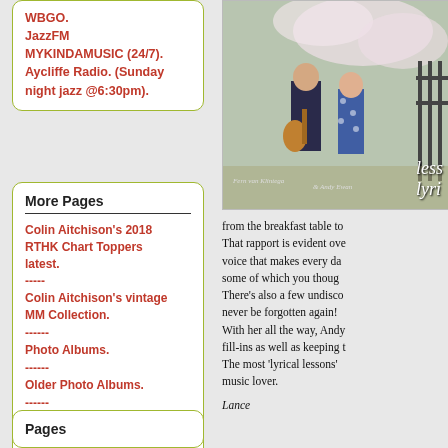WBGO. JazzFM MYKINDAMUSIC (24/7). Aycliffe Radio. (Sunday night jazz @6:30pm).
More Pages
Colin Aitchison's 2018 RTHK Chart Toppers latest.
-----
Colin Aitchison's vintage MM Collection.
------
Photo Albums.
------
Older Photo Albums.
------
Groove Depository - Rare jazz vinyl.
------
Pages
[Figure (photo): Two people standing outdoors near an iron fence with cherry blossom trees. A man in a dark suit holding a guitar and a woman in a floral dress. Text overlay reads 'less lyri' (partially visible). Caption reads 'Fern van Klintega & Andy Ewan'.]
from the breakfast table to That rapport is evident ove voice that makes every da some of which you thoug There's also a few undisco never be forgotten again! With her all the way, Andy fill-ins as well as keeping t The most 'lyrical lessons' music lover.
Lance